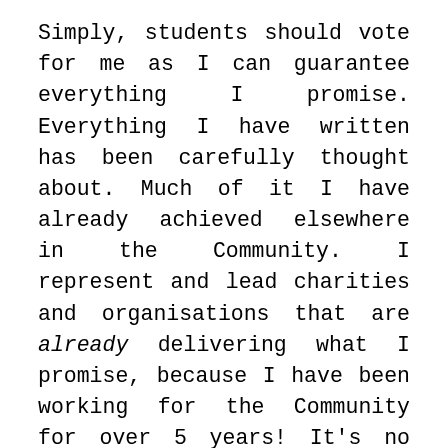Simply, students should vote for me as I can guarantee everything I promise. Everything I have written has been carefully thought about. Much of it I have already achieved elsewhere in the Community. I represent and lead charities and organisations that are already delivering what I promise, because I have been working for the Community for over 5 years! It's no surprise that I am confident we can achieve these policies, as so many of them have been achieved and implemented outside of UoN.
But what is crucial to realise, is that with your vote and backing, I can implement this work within our UoN Community! We are so close already to making incredible improvements to our daily lives, with even the smallest of changes. But getting